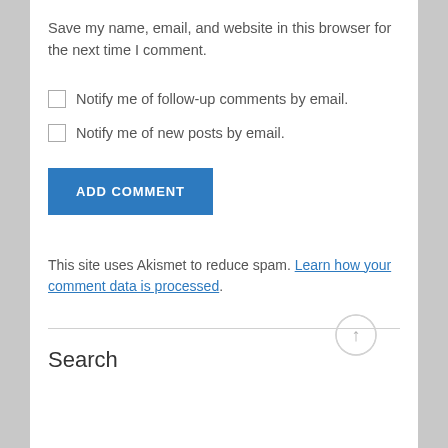Save my name, email, and website in this browser for the next time I comment.
Notify me of follow-up comments by email.
Notify me of new posts by email.
ADD COMMENT
This site uses Akismet to reduce spam. Learn how your comment data is processed.
Search